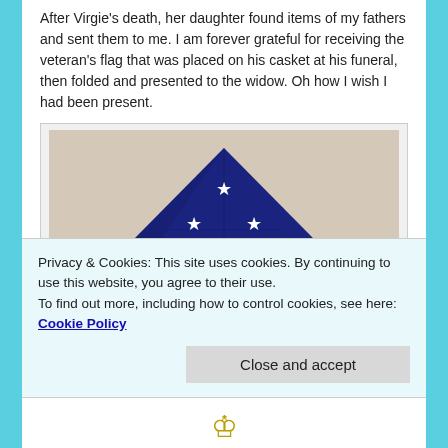After Virgie's death, her daughter found items of my fathers and sent them to me. I am forever grateful for receiving the veteran's flag that was placed on his casket at his funeral, then folded and presented to the widow. Oh how I wish I had been present.
[Figure (photo): A folded American flag in the traditional triangular military funeral fold, showing white stars on a navy blue field, resting on a light surface.]
Privacy & Cookies: This site uses cookies. By continuing to use this website, you agree to their use. To find out more, including how to control cookies, see here: Cookie Policy